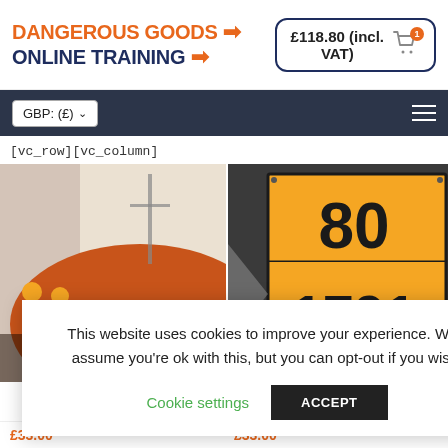[Figure (logo): Dangerous Goods Online Training logo with orange and dark blue text and orange arrow icon]
£118.80 (incl. VAT)
GBP: (£) ▾
[vc_row][vc_column]
[Figure (photo): Workers in orange safety gear near a large orange ship hull]
[Figure (photo): Orange hazmat placard showing numbers 80 and 1791]
This website uses cookies to improve your experience. We'll assume you're ok with this, but you can opt-out if you wish.
Cookie settings
ACCEPT
£33.00
£33.00